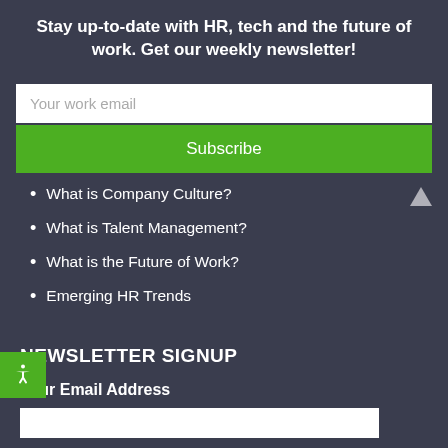Stay up-to-date with HR, tech and the future of work. Get our weekly newsletter!
Your work email
Subscribe
What is Company Culture?
What is Talent Management?
What is the Future of Work?
Emerging HR Trends
NEWSLETTER SIGNUP
Your Email Address